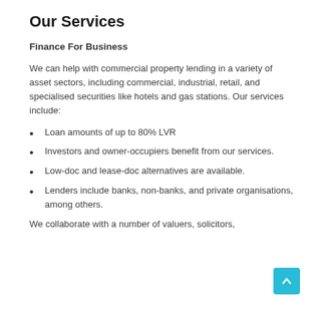Our Services
Finance For Business
We can help with commercial property lending in a variety of asset sectors, including commercial, industrial, retail, and specialised securities like hotels and gas stations. Our services include:
Loan amounts of up to 80% LVR
Investors and owner-occupiers benefit from our services.
Low-doc and lease-doc alternatives are available.
Lenders include banks, non-banks, and private organisations, among others.
We collaborate with a number of valuers, solicitors,